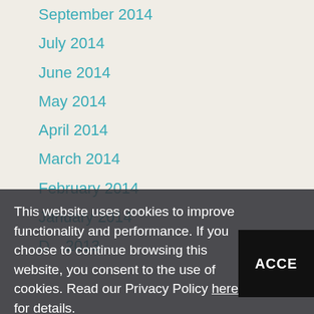September 2014
July 2014
June 2014
May 2014
April 2014
March 2014
February 2014
January 2014
This website uses cookies to improve functionality and performance. If you choose to continue browsing this website, you consent to the use of cookies. Read our Privacy Policy here for details.
ACCE